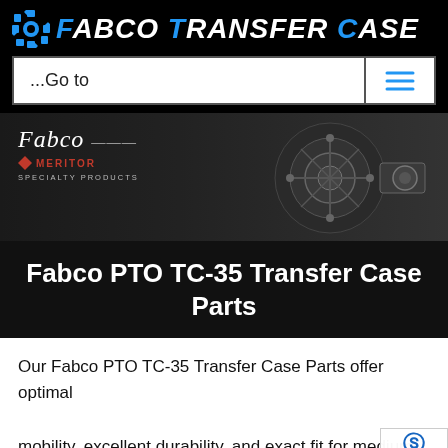[Figure (logo): Fabco Transfer Case logo with blue gear icon and white italic bold uppercase text reading FABCO TRANSFER CASE on black background]
...Go to
[Figure (photo): Hero banner showing Fabco cursive script logo above Meritor specialty products branding on left, with a close-up photo of a transfer case mechanical component on the right, on dark background]
Fabco PTO TC-35 Transfer Case Parts
Our Fabco PTO TC-35 Transfer Case Parts offer optimal mobility, excellent durability, and exact fit for medium